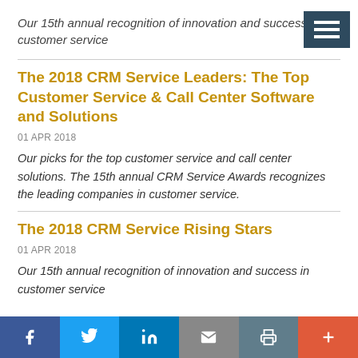Our 15th annual recognition of innovation and success in customer service
The 2018 CRM Service Leaders: The Top Customer Service & Call Center Software and Solutions
01 APR 2018
Our picks for the top customer service and call center solutions. The 15th annual CRM Service Awards recognizes the leading companies in customer service.
The 2018 CRM Service Rising Stars
01 APR 2018
Our 15th annual recognition of innovation and success in customer service
f  t  in  mail  print  +